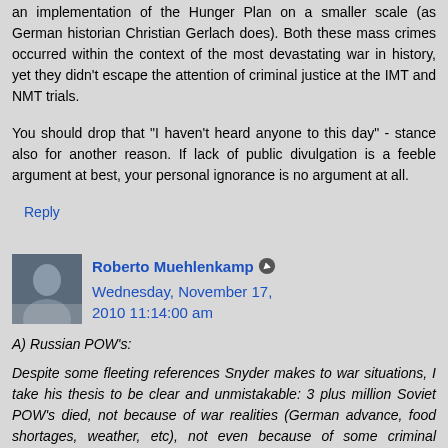an implementation of the Hunger Plan on a smaller scale (as German historian Christian Gerlach does). Both these mass crimes occurred within the context of the most devastating war in history, yet they didn't escape the attention of criminal justice at the IMT and NMT trials.
You should drop that "I haven't heard anyone to this day" - stance also for another reason. If lack of public divulgation is a feeble argument at best, your personal ignorance is no argument at all.
Reply
Roberto Muehlenkamp  Wednesday, November 17, 2010 11:14:00 am
A) Russian POW's:
Despite some fleeting references Snyder makes to war situations, I take his thesis to be clear and unmistakable: 3 plus million Soviet POW's died, not because of war realities (German advance, food shortages, weather, etc), not even because of some criminal negligence or utter disregard for